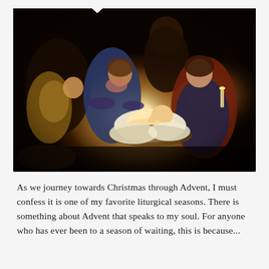[Figure (photo): A classical nativity painting depicting the Adoration of the Shepherds. A newborn baby Jesus glows with light in a manger, surrounded by the Virgin Mary in red holding a candle on the right, a kneeling woman in blue in the center, an angel or shepherd child on the left in yellow garb, and an older figure of Joseph standing in the background. The scene is dramatically lit by the light emanating from the Christ child, rendered in the style of chiaroscuro painting.]
As we journey towards Christmas through Advent, I must confess it is one of my favorite liturgical seasons. There is something about Advent that speaks to my soul. For anyone who has ever been to a season of waiting, this is because...